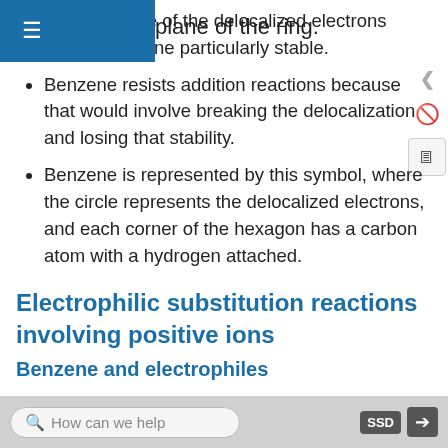plane of the ring.
The presence of the delocalized electrons makes benzene particularly stable.
Benzene resists addition reactions because that would involve breaking the delocalization and losing that stability.
Benzene is represented by this symbol, where the circle represents the delocalized electrons, and each corner of the hexagon has a carbon atom with a hydrogen attached.
Electrophilic substitution reactions involving positive ions
Benzene and electrophiles
How can we help